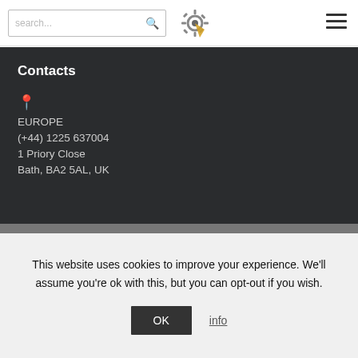search...
Contacts
EUROPE
(+44) 1225 637004
1 Priory Close
Bath, BA2 5AL, UK
This website uses cookies to improve your experience. We'll assume you're ok with this, but you can opt-out if you wish.
OK   info